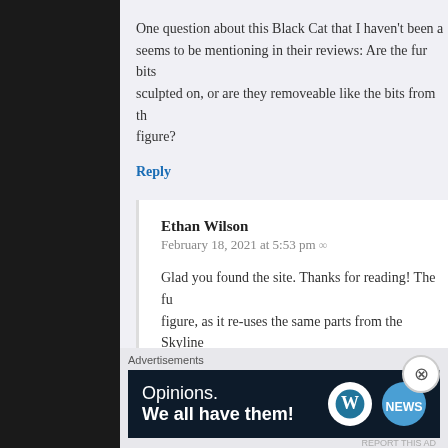One question about this Black Cat that I haven't been a... seems to be mentioning in their reviews: Are the fur bits sculpted on, or are they removeable like the bits from th... figure?
Reply
Ethan Wilson
February 18, 2021 at 5:53 pm
Glad you found the site. Thanks for reading! The fu... figure, as it re-uses the same parts from the Skyline... likewise had sculpted on fur pieces
Reply
Advertisements
[Figure (infographic): WordPress advertisement banner with text 'Opinions. We all have them!' and WordPress and another logo on dark navy background]